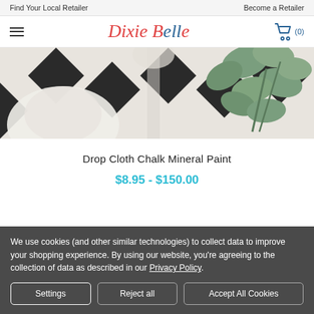Find Your Local Retailer   Become a Retailer
[Figure (logo): Dixie Belle Paint Company logo in red and blue script font]
[Figure (photo): Black and white tile floor with white decorative items and green eucalyptus leaves]
Drop Cloth Chalk Mineral Paint
$8.95 - $150.00
We use cookies (and other similar technologies) to collect data to improve your shopping experience. By using our website, you're agreeing to the collection of data as described in our Privacy Policy.
Settings
Reject all
Accept All Cookies